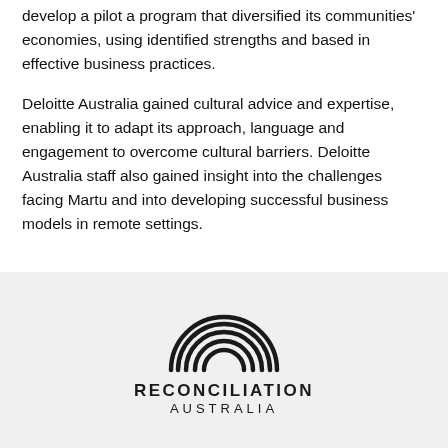develop a pilot a program that diversified its communities' economies, using identified strengths and based in effective business practices.
Deloitte Australia gained cultural advice and expertise, enabling it to adapt its approach, language and engagement to overcome cultural barriers. Deloitte Australia staff also gained insight into the challenges facing Martu and into developing successful business models in remote settings.
[Figure (logo): Reconciliation Australia logo — stylized concentric rainbow arcs above text reading RECONCILIATION AUSTRALIA]